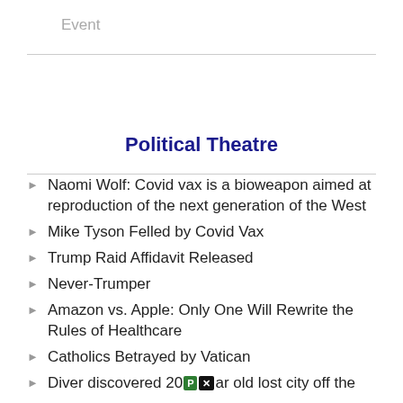Event
Political Theatre
Naomi Wolf: Covid vax is a bioweapon aimed at reproduction of the next generation of the West
Mike Tyson Felled by Covid Vax
Trump Raid Affidavit Released
Never-Trumper
Amazon vs. Apple: Only One Will Rewrite the Rules of Healthcare
Catholics Betrayed by Vatican
Diver discovered 20[P][x]ar old lost city off the